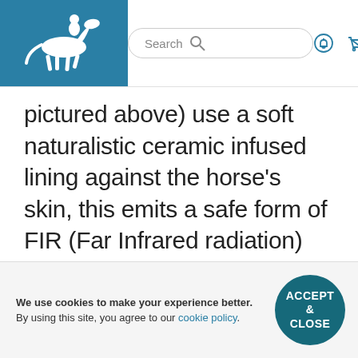Search [search icon] [notification icon] [cart icon] [menu icon]
pictured above) use a soft naturalistic ceramic infused lining against the horse's skin, this emits a safe form of FIR (Far Infrared radiation) which is a natural process and is scientifically proven to gently and safely assist blood circulation. Helping to support healthy joints, soft tissue, maintain healthy blood flow, ease muscle
We use cookies to make your experience better. By using this site, you agree to our cookie policy.